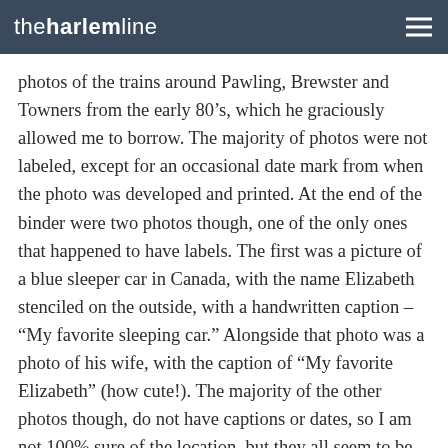theharlemline
photos of the trains around Pawling, Brewster and Towners from the early 80’s, which he graciously allowed me to borrow. The majority of photos were not labeled, except for an occasional date mark from when the photo was developed and printed. At the end of the binder were two photos though, one of the only ones that happened to have labels. The first was a picture of a blue sleeper car in Canada, with the name Elizabeth stenciled on the outside, with a handwritten caption – “My favorite sleeping car.” Alongside that photo was a photo of his wife, with the caption of “My favorite Elizabeth” (how cute!). The majority of the other photos though, do not have captions or dates, so I am not 100% sure of the location, but they all seem to be either on the Harlem Line or in the vicinity. I’ve scanned some of my favorites, and present them here. A few of them may have been in his book (which was black